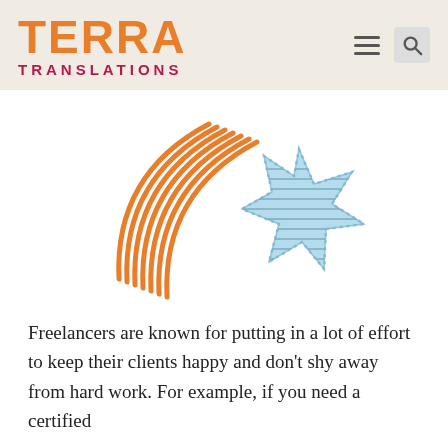[Figure (logo): Terra Translations logo with orange 'TERRA' text and dark red 'TRANSLATIONS' subtitle, plus hamburger menu and search icons in a beige header bar]
[Figure (illustration): Hand-drawn style illustration: orange arc/streak lines on the left and a light blue star shape with diagonal line fill and dotted border on the right]
Freelancers are known for putting in a lot of effort to keep their clients happy and don't shy away from hard work. For example, if you need a certified